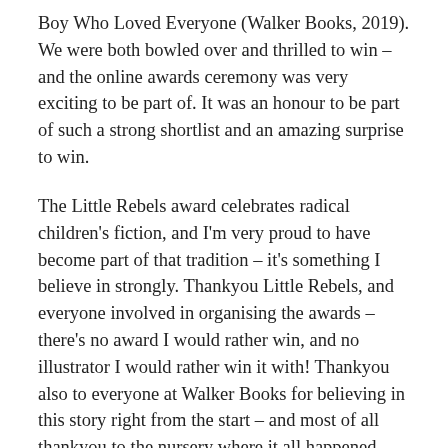Boy Who Loved Everyone (Walker Books, 2019). We were both bowled over and thrilled to win – and the online awards ceremony was very exciting to be part of. It was an honour to be part of such a strong shortlist and an amazing surprise to win.
The Little Rebels award celebrates radical children's fiction, and I'm very proud to have become part of that tradition – it's something I believe in strongly. Thankyou Little Rebels, and everyone involved in organising the awards – there's no award I would rather win, and no illustrator I would rather win it with! Thankyou also to everyone at Walker Books for believing in this story right from the start – and most of all thankyou to the nursery where it all happened, and to the real boy that inspired the story. I'm meeting him and his mum for a socially distanced celebration in the park later this week.
I couldn't be more pleased that the book has been used a lot in schools this year to help children returning to formal